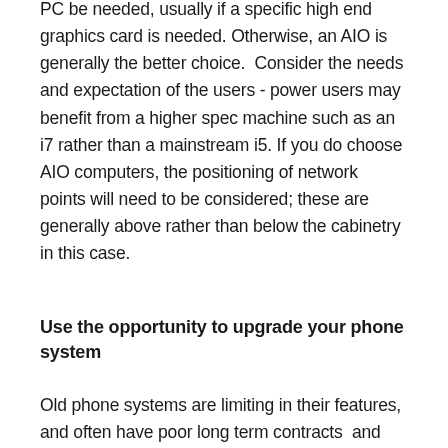PC be needed, usually if a specific high end graphics card is needed. Otherwise, an AIO is generally the better choice.  Consider the needs and expectation of the users - power users may benefit from a higher spec machine such as an i7 rather than a mainstream i5. If you do choose AIO computers, the positioning of network points will need to be considered; these are generally above rather than below the cabinetry in this case.
Use the opportunity to upgrade your phone system
Old phone systems are limiting in their features, and often have poor long term contracts  and support, and costly call and